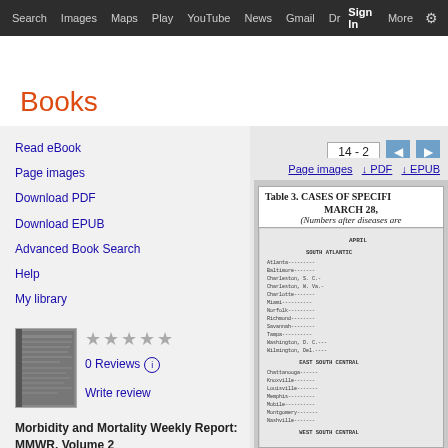Search  Images  Maps  Play  YouTube  News  Gmail  Dr  Sign In  More  ⚙
Books
Read eBook
Page images
Download PDF
Download EPUB
Advanced Book Search
Help
My library
0 Reviews
Write review
Morbidity and Mortality Weekly Report: MMWR, Volume 2
14 - 2
Page images  ↓ PDF  ↓ EPUB
Table 3. CASES OF SPECIFI
MARCH 28,
(Numbers after diseases are
[Figure (screenshot): Embedded document showing Table 3 with city names listed under SOUTH ATLANTIC and EAST SOUTH CENTRAL sections including Atlanta, Baltimore, Charleston SC, Charleston WV, Charlotte, Miami, Norfolk, Richmond, Savannah, Tampa, Washington DC, Wilmington Del, Chattanooga, Knoxville, Louisville, Memphis, Mobile, Montgomery, Nashville]